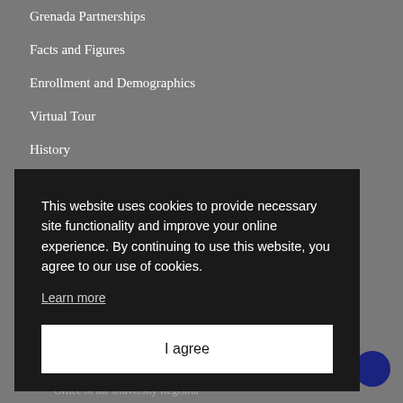Grenada Partnerships
Facts and Figures
Enrollment and Demographics
Virtual Tour
History
Employment Opportunities
This website uses cookies to provide necessary site functionality and improve your online experience. By continuing to use this website, you agree to our use of cookies.
Learn more
I agree
Office of the University Registrar